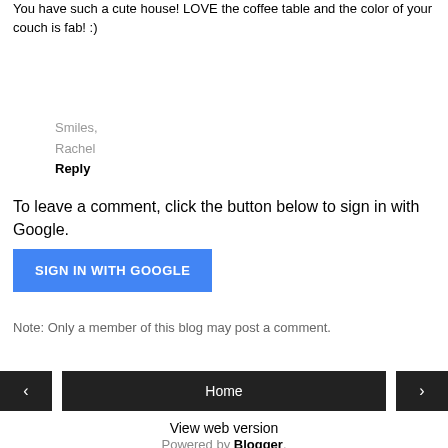You have such a cute house! LOVE the coffee table and the color of your couch is fab! :)
Smiles,
Rachel
Reply
To leave a comment, click the button below to sign in with Google.
[Figure (screenshot): Blue button labeled SIGN IN WITH GOOGLE]
Note: Only a member of this blog may post a comment.
[Figure (screenshot): Navigation bar with left arrow, Home button, and right arrow buttons]
View web version
Powered by Blogger.